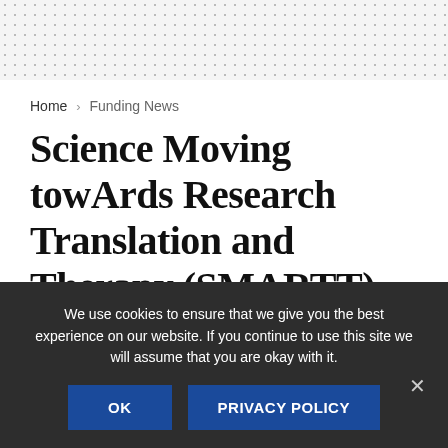Home › Funding News
Science Moving towArds Research Translation and Therapy (SMARTT)
by Global Biodefense Staff — March 13, 2016
We use cookies to ensure that we give you the best experience on our website. If you continue to use this site we will assume that you are okay with it.